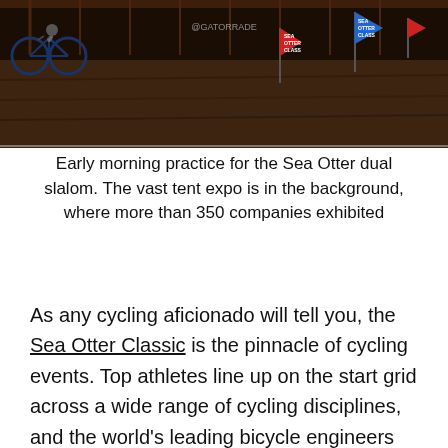[Figure (photo): Early morning photo of a cyclist riding a mountain bike at the Sea Otter dual slalom course, with colorful race flags (blue, red) visible in the background and a tent expo area behind.]
Early morning practice for the Sea Otter dual slalom. The vast tent expo is in the background, where more than 350 companies exhibited
As any cycling aficionado will tell you, the Sea Otter Classic is the pinnacle of cycling events. Top athletes line up on the start grid across a wide range of cycling disciplines, and the world's leading bicycle engineers show their latest and best ideas in the expansive outdoor expo that's encircled by the famed Laguna Seca Raceway.